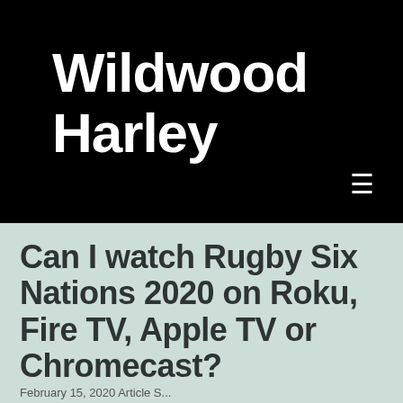Wildwood Harley
Can I watch Rugby Six Nations 2020 on Roku, Fire TV, Apple TV or Chromecast?
February 15, 2020 Article S...